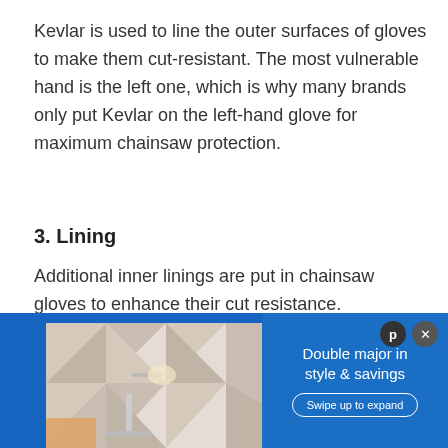Kevlar is used to line the outer surfaces of gloves to make them cut-resistant. The most vulnerable hand is the left one, which is why many brands only put Kevlar on the left-hand glove for maximum chainsaw protection.
3. Lining
Additional inner linings are put in chainsaw gloves to enhance their cut resistance.
[Figure (infographic): Advertisement banner with geometric triangle background image on the left showing a desk setup, and blue background on the right with text 'Double major in style & savings' and a 'Swipe up to expand' button.]